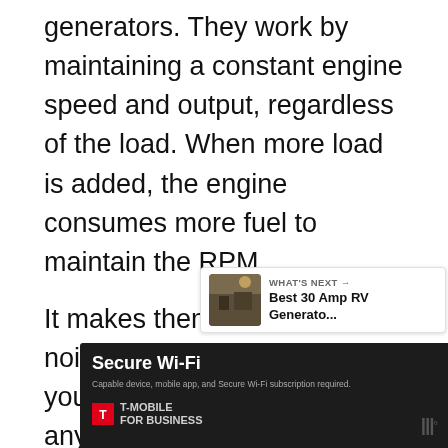generators. They work by maintaining a constant engine speed and output, regardless of the load. When more load is added, the engine consumes more fuel to maintain the RPM.
It makes them inefficient, noisy, and not something you'd be keen on having anywhere near your camper.
[Figure (other): WHAT'S NEXT arrow button with thumbnail image and text: Best 30 Amp RV Generato...]
[Figure (screenshot): Advertisement banner: Secure Wi-Fi, T-Mobile for Business. Dark background with logos and small print.]